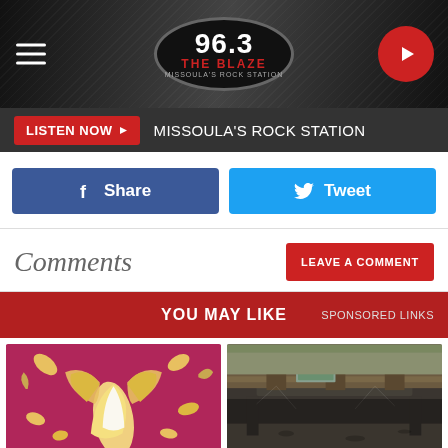[Figure (logo): 96.3 The Blaze radio station header with logo, hamburger menu, and play button]
LISTEN NOW  MISSOULA'S ROCK STATION
Share  Tweet
Comments
LEAVE A COMMENT
YOU MAY LIKE  SPONSORED LINKS
[Figure (photo): Bananas on magenta/pink background]
[Figure (photo): Crawl space under a house]
Know What Will Happen to Your
Looking For Crawl Space Repair?